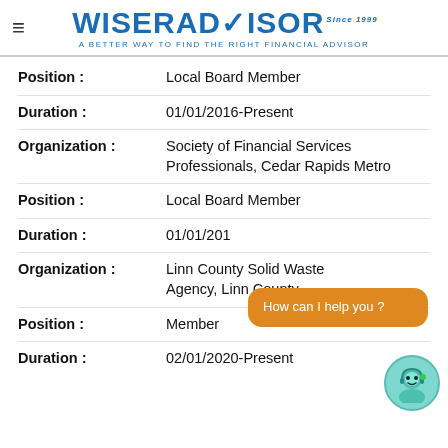[Figure (logo): WiserAdvisor logo with tagline 'A Better Way to Find the Right Financial Advisor']
Position : Local Board Member
Duration : 01/01/2016-Present
Organization : Society of Financial Services Professionals, Cedar Rapids Metro
Position : Local Board Member
Duration : 01/01/20...
Organization : Linn County Solid Waste Agency, Linn County
Position : Member
Duration : 02/01/2020-Present